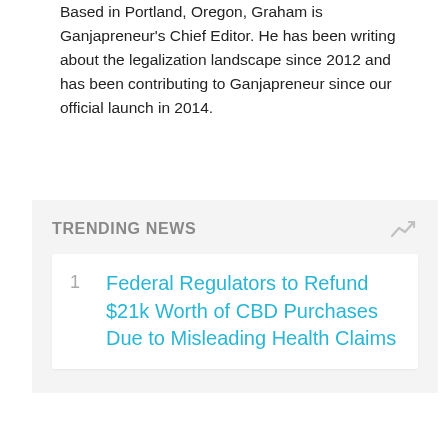Based in Portland, Oregon, Graham is Ganjapreneur's Chief Editor. He has been writing about the legalization landscape since 2012 and has been contributing to Ganjapreneur since our official launch in 2014.
TRENDING NEWS
Federal Regulators to Refund $21k Worth of CBD Purchases Due to Misleading Health Claims
TOPICS:
CBD NEWS
OREGON
OUTDOOR GROWING